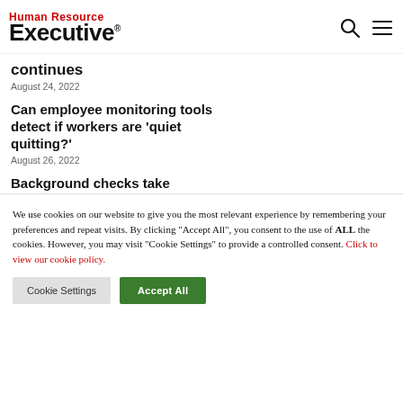Human Resource Executive
continues
August 24, 2022
Can employee monitoring tools detect if workers are ‘quiet quitting?’
August 26, 2022
Background checks take
We use cookies on our website to give you the most relevant experience by remembering your preferences and repeat visits. By clicking “Accept All”, you consent to the use of ALL the cookies. However, you may visit “Cookie Settings” to provide a controlled consent. Click to view our cookie policy.
Cookie Settings
Accept All